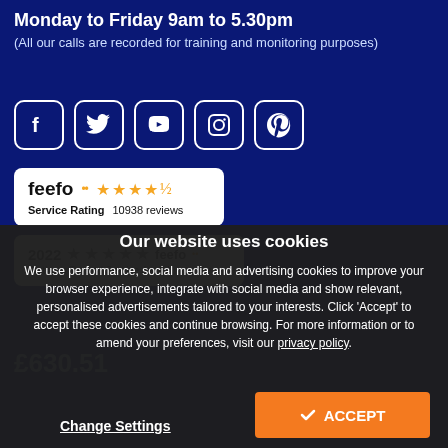Monday to Friday 9am to 5.30pm
(All our calls are recorded for training and monitoring purposes)
[Figure (infographic): Social media icon buttons: Facebook, Twitter, YouTube, Instagram, Pinterest — white outlined rounded square icons on dark navy background]
[Figure (infographic): Feefo Service Rating badge: feefo logo with 4.5 gold stars, 10938 reviews]
[Figure (infographic): Feefo 2022 Platinum Trusted Service Award badge with 5 gold stars]
£630.51
Our website uses cookies
We use performance, social media and advertising cookies to improve your browser experience, integrate with social media and show relevant, personalised advertisements tailored to your interests. Click 'Accept' to accept these cookies and continue browsing. For more information or to amend your preferences, visit our privacy policy.
Change Settings
✓ ACCEPT